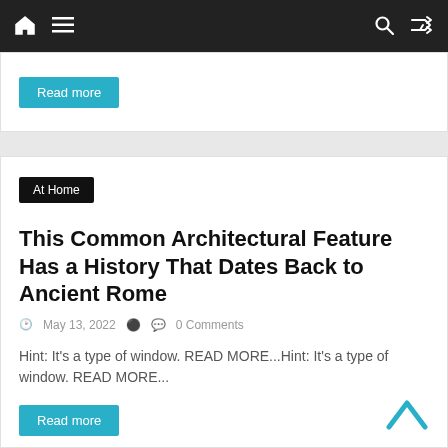Navigation bar with home icon, menu icon, search icon, and shuffle icon
Read more
This Common Architectural Feature Has a History That Dates Back to Ancient Rome
May 13, 2022  0 Comments
Hint: It's a type of window. READ MORE...Hint: It's a type of window. READ MORE...
Read more